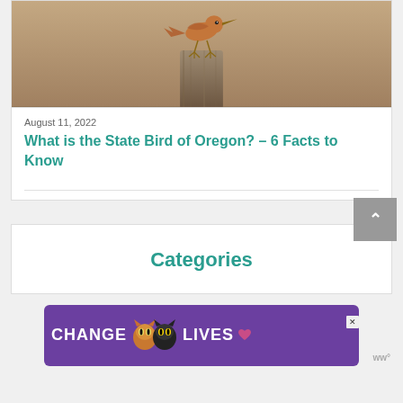[Figure (photo): A bird perched on top of a weathered wooden post, photographed against a blurred tan/brown background. The bird appears to be a kingfisher or similar species.]
August 11, 2022
What is the State Bird of Oregon? – 6 Facts to Know
Categories
[Figure (photo): Advertisement banner with purple background showing two cats and text 'CHANGE LIVES' with a close button]